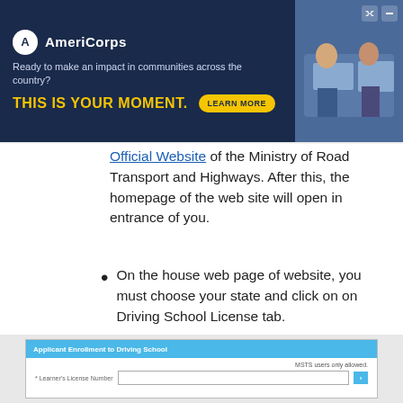[Figure (screenshot): AmeriCorps advertisement banner with logo, tagline 'Ready to make an impact in communities across the country?', headline 'THIS IS YOUR MOMENT.', LEARN MORE button, and photo of students at computers]
Official Website of the Ministry of Road Transport and Highways. After this, the homepage of the web site will open in entrance of you.
On the house web page of website, you must choose your state and click on on Driving School License tab.
After that, you must click on on DSL Certificate Enrollment and a brand new web page will open in entrance of you.
[Figure (screenshot): Web form screenshot showing 'Applicant Enrollment to Driving School' header in blue, 'MSTS users only allowed.' label, and a Learner's License Number input field with Go button]